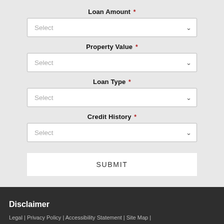Loan Amount *
Select
Property Value *
Select
Loan Type *
Select
Credit History *
Select
SUBMIT
Disclaimer
Legal | Privacy Policy | Accessibility Statement | Site Map | Licensing